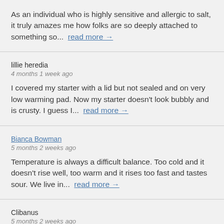As an individual who is highly sensitive and allergic to salt, it truly amazes me how folks are so deeply attached to something so...  read more →
lillie heredia
4 months 1 week ago
I covered my starter with a lid but not sealed and on very low warming pad. Now my starter doesn't look bubbly and is crusty. I guess I...  read more →
Bianca Bowman
5 months 2 weeks ago
Temperature is always a difficult balance. Too cold and it doesn't rise well, too warm and it rises too fast and tastes sour. We live in...  read more →
Clibanus
5 months 2 weeks ago